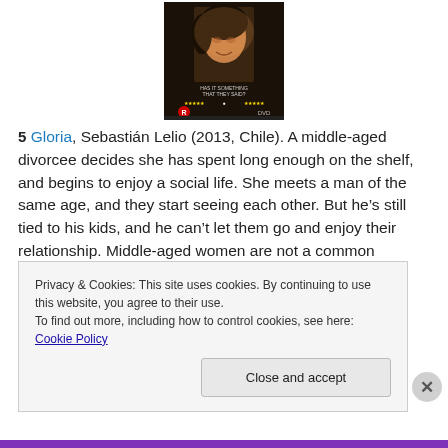[Figure (photo): DVD cover of the film 'Gloria' (2013) showing a woman looking upward with eyes closed, with star ratings and DVD logo at the bottom]
5 Gloria, Sebastián Lelio (2013, Chile). A middle-aged divorcee decides she has spent long enough on the shelf, and begins to enjoy a social life. She meets a man of the same age, and they start seeing each other. But he's still tied to his kids, and he can't let them go and enjoy their relationship. Middle-aged women are not a common
Privacy & Cookies: This site uses cookies. By continuing to use this website, you agree to their use.
To find out more, including how to control cookies, see here: Cookie Policy
Close and accept